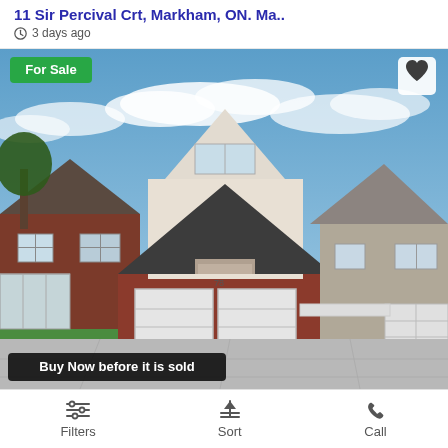11 Sir Percival Crt, Markham, ON. Ma..
3 days ago
[Figure (photo): Exterior photo of a two-storey house with two white garage doors, brick lower level, stucco upper level, large paved driveway, blue sky with clouds. Green 'For Sale' badge top-left, white heart icon top-right, black 'Buy Now before it is sold' banner bottom-left.]
Filters  Sort  Call